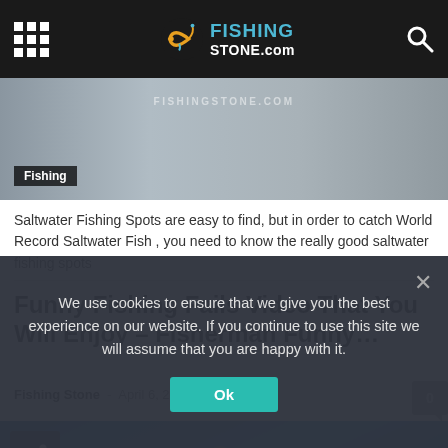FISHINGSTONE.com
[Figure (screenshot): Hero image of fishing scene with FISHINGSTONE.COM watermark and Fishing category tag]
Saltwater Fishing Spots are easy to find, but in order to catch World Record Saltwater Fish , you need to know the really good saltwater fishing spots
Funny Fishing Fails Video That You Will Enjoy – Fisherman Funny…
Fishing Stone - April 6, 2018
[Figure (photo): Shark swimming upward toward surface with open mouth, blue ocean background]
We use cookies to ensure that we give you the best experience on our website. If you continue to use this site we will assume that you are happy with it.